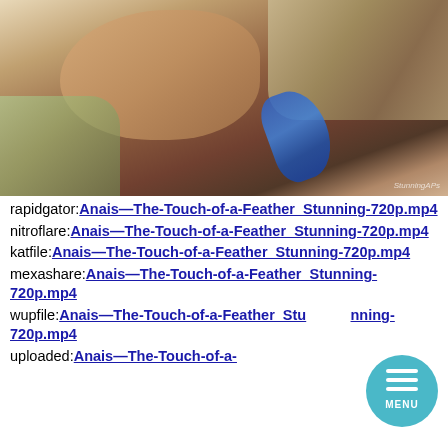[Figure (photo): Photo of a young woman lying on a floral pillow, being touched with a blue feather, with a watermark in the lower right corner.]
rapidgator:Anais—The-Touch-of-a-Feather_Stunning-720p.mp4
nitroflare:Anais—The-Touch-of-a-Feather_Stunning-720p.mp4
katfile:Anais—The-Touch-of-a-Feather_Stunning-720p.mp4
mexashare:Anais—The-Touch-of-a-Feather_Stunning-720p.mp4
wupfile:Anais—The-Touch-of-a-Feather_Stunning-720p.mp4
uploaded:Anais—The-Touch-of-a-